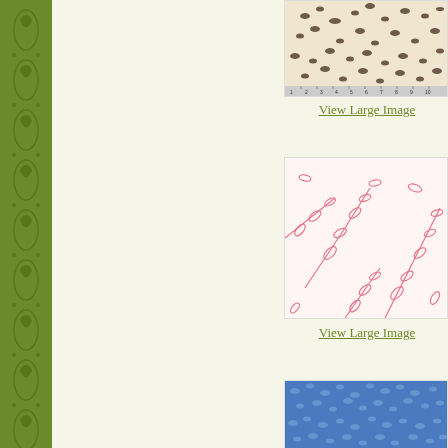[Figure (photo): Fabric swatch with beige/cream background and dark brown/black leopard print spots pattern with a ruler shown at bottom]
View Large Image
[Figure (photo): Fabric swatch with white/cream background and pink botanical leaf/branch print pattern]
View Large Image
[Figure (photo): Fabric swatch with blue background and lighter blue swirling pattern]